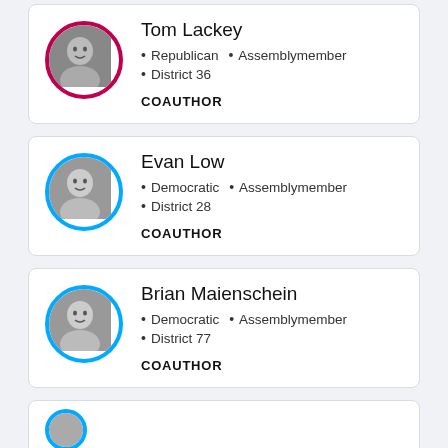Tom Lackey
• Republican • Assemblymember
• District 36
COAUTHOR
Evan Low
• Democratic • Assemblymember
• District 28
COAUTHOR
Brian Maienschein
• Democratic • Assemblymember
• District 77
COAUTHOR